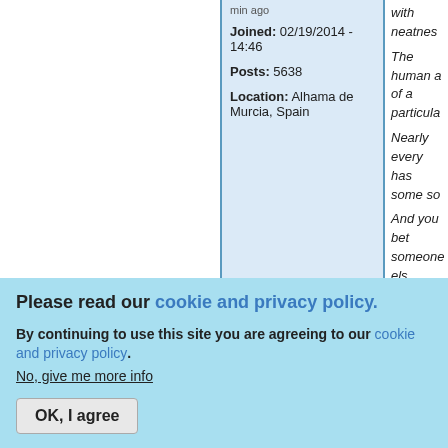Joined: 02/19/2014 - 14:46
Posts: 5638
Location: Alhama de Murcia, Spain
with neatnes... The human ... of a particula... Nearly every... has some so... And you bet... someone els... Viruses DON... exosomes, a... Theory vs B... truth! Check... the book "Be... depth inform...
Please read our cookie and privacy policy.
By continuing to use this site you are agreeing to our cookie and privacy policy. No, give me more info
OK, I agree